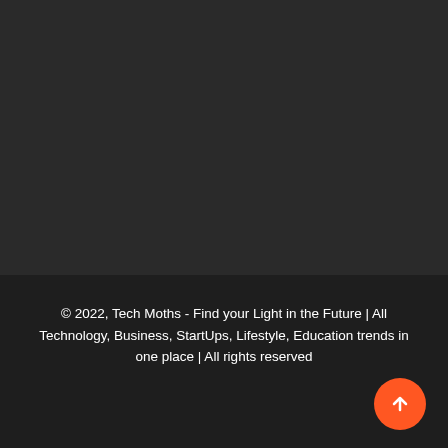© 2022, Tech Moths - Find your Light in the Future | All Technology, Business, StartUps, Lifestyle, Education trends in one place | All rights reserved